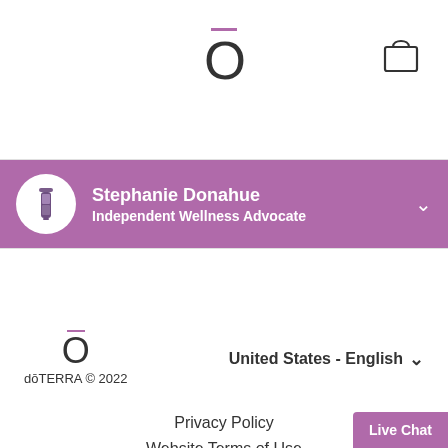[Figure (logo): doTERRA logo with purple bar over stylized O letter, top center of page]
[Figure (illustration): Shopping bag cart icon, top right of page]
Stephanie Donahue
Independent Wellness Advocate
[Figure (logo): doTERRA logo small, footer left, with copyright text dōTERRA © 2022]
United States - English
Privacy Policy
Website Terms of Use
Return Policy
Live Chat